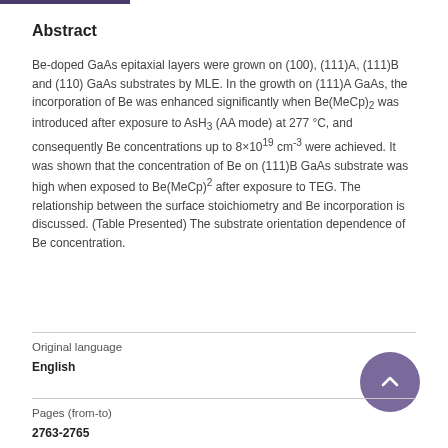Abstract
Be-doped GaAs epitaxial layers were grown on (100), (111)A, (111)B and (110) GaAs substrates by MLE. In the growth on (111)A GaAs, the incorporation of Be was enhanced significantly when Be(MeCp)2 was introduced after exposure to AsH3 (AA mode) at 277 °C, and consequently Be concentrations up to 8x10^19 cm^-3 were achieved. It was shown that the concentration of Be on (111)B GaAs substrate was high when exposed to Be(MeCp)^2 after exposure to TEG. The relationship between the surface stoichiometry and Be incorporation is discussed. (Table Presented) The substrate orientation dependence of Be concentration.
Original language
English
Pages (from-to)
2763-2765